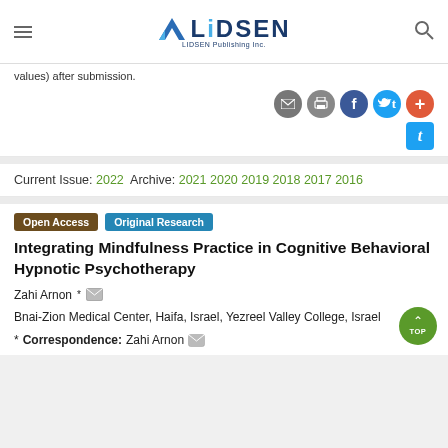LIDSEN Publishing Inc.
values) after submission.
Current Issue: 2022  Archive: 2021 2020 2019 2018 2017 2016
Integrating Mindfulness Practice in Cognitive Behavioral Hypnotic Psychotherapy
Zahi Arnon *
Bnai-Zion Medical Center, Haifa, Israel, Yezreel Valley College, Israel
* Correspondence: Zahi Arnon